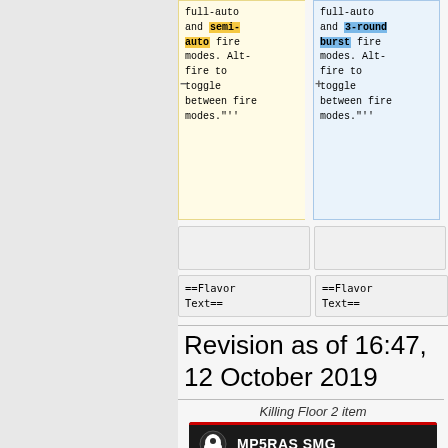full-auto and semi-auto fire modes. Alt-fire to toggle between fire modes."'' (left diff column)
full-auto and 3-round burst fire modes. Alt-fire to toggle between fire modes."'' (right diff column)
==Flavor Text== (left)
==Flavor Text== (right)
Revision as of 16:47, 12 October 2019
Killing Floor 2 item
MP5RAS SMG